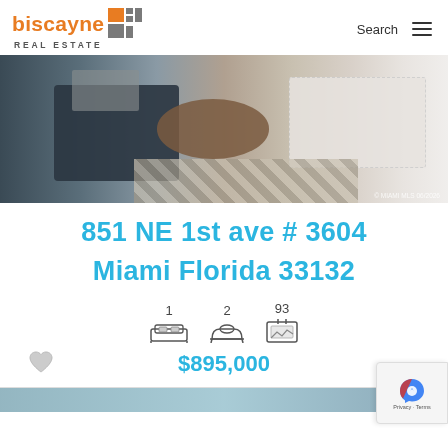biscayne REAL ESTATE | Search
[Figure (photo): Interior living room photo showing a dark sofa, round coffee table, patterned rug, and white upholstered bench near a window]
851 NE 1st ave # 3604 Miami Florida 33132
1 bedroom, 2 bathrooms, 93 photos
$895,000